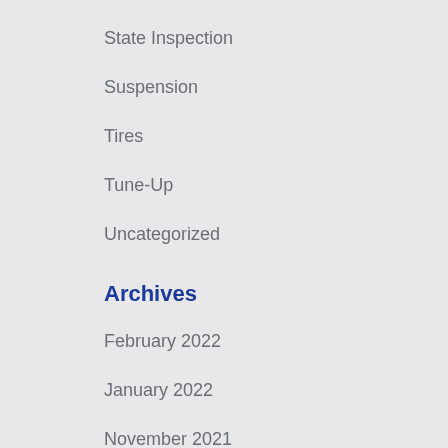State Inspection
Suspension
Tires
Tune-Up
Uncategorized
Archives
February 2022
January 2022
November 2021
October 2021